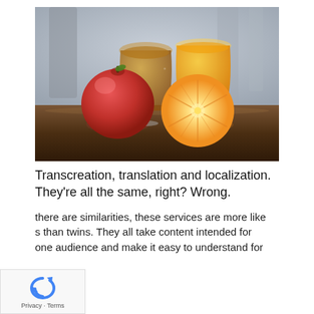[Figure (photo): Photo of two glasses of juice (one brownish, one orange), a red apple, and a halved orange on a dark wooden table with a blurred background.]
Transcreation, translation and localization. They're all the same, right? Wrong.
there are similarities, these services are more like s than twins. They all take content intended for one audience and make it easy to understand for